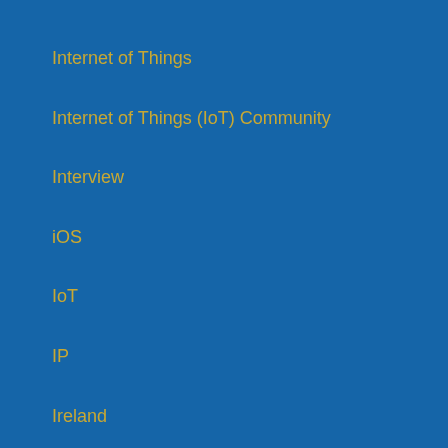Internet of Things
Internet of Things (IoT) Community
Interview
iOS
IoT
IP
Ireland
Ireland Chapter of Project Management Institute
IRL